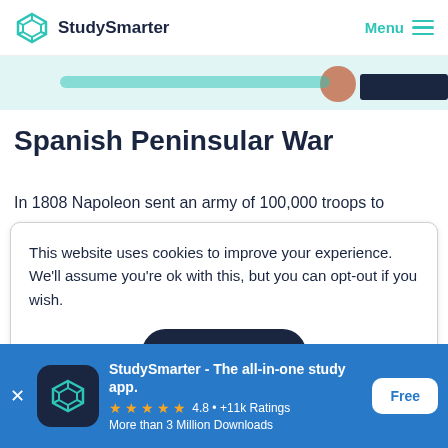StudySmarter  Menu
[Figure (illustration): Partial illustration strip showing decorative educational content with teal background, a person silhouette and navy elements on the right]
Spanish Peninsular War
In 1808 Napoleon sent an army of 100,000 troops to
This website uses cookies to improve your experience. We'll assume you're ok with this, but you can opt-out if you wish.
Accept
StudySmarter - The all-in-one study app.
4.8 • +11k Ratings
More than 3 Million Downloads
Free